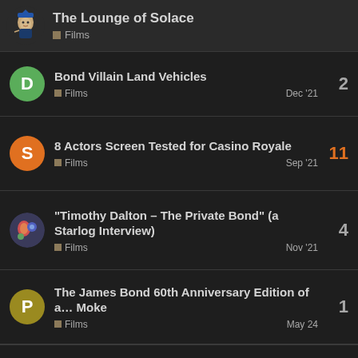The Lounge of Solace — Films
Bond Villain Land Vehicles — Films — Dec '21 — 2 replies
8 Actors Screen Tested for Casino Royale — Films — Sep '21 — 11 replies
"Timothy Dalton – The Private Bond" (a Starlog Interview) — Films — Nov '21 — 4 replies
The James Bond 60th Anniversary Edition of a… Moke — Films — May 24 — 1 reply
Want to read more? Browse other topics in Films or view latest topics.